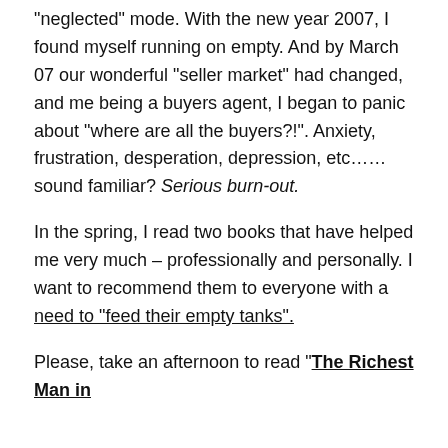“neglected” mode. With the new year 2007, I found myself running on empty. And by March 07 our wonderful “seller market” had changed, and me being a buyers agent, I began to panic about “where are all the buyers?!”. Anxiety, frustration, desperation, depression, etc……sound familiar? Serious burn-out.
In the spring, I read two books that have helped me very much – professionally and personally. I want to recommend them to everyone with a need to “feed their empty tanks”.
Please, take an afternoon to read “The Richest Man in